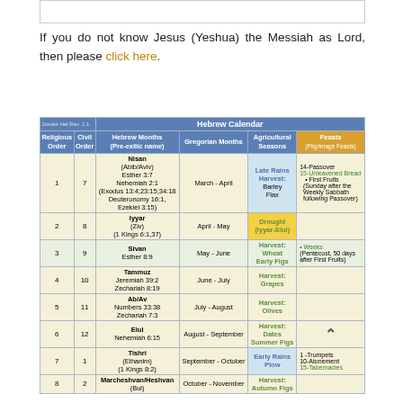[Figure (other): Top image placeholder (partially visible)]
If you do not know Jesus (Yeshua) the Messiah as Lord, then please click here.
| Religious Order | Civil Order | Hebrew Months (Pre-exilic name) | Gregorian Months | Agricultural Seasons | Feasts (Pilgrimage Feasts) |
| --- | --- | --- | --- | --- | --- |
| 1 | 7 | Nisan (Abib/Aviv) Esther 3:7 Nehemiah 2:1 (Exodus 13:4;23:15;34:18 Deuteronomy 16:1, Ezekiel 3:15) | March - April | Late Rains Harvest: Barley Flax | 14-Passover 15-Unleavened Bread • First Fruits (Sunday after the Weekly Sabbath following Passover) |
| 2 | 8 | Iyyar (Ziv) (1 Kings 6:1,37) | April - May | Drought (Iyyar-Elul) |  |
| 3 | 9 | Sivan Esther 8:9 | May - June | Harvest: Wheat Early Figs | • Weeks (Pentecost, 50 days after First Fruits) |
| 4 | 10 | Tammuz Jeremiah 39:2 Zechariah 8:19 | June - July | Harvest: Grapes |  |
| 5 | 11 | Ab/Av Numbers 33:38 Zechariah 7:3 | July - August | Harvest: Olives |  |
| 6 | 12 | Elul Nehemiah 6:15 | August - September | Harvest: Dates Summer Figs |  |
| 7 | 1 | Tishri (Ethanim) (1 Kings 8:2) | September - October | Early Rains Plow | 1-Trumpets 10-Atonement 15-Tabernacles |
| 8 | 2 | Marcheshvan/Heshvan (Bul) | October - November | Harvest: Autumn Figs |  |